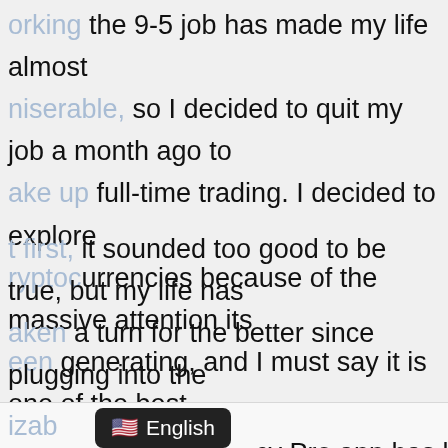orking the 9-5 job has made my life almost miserable, so I decided to quit my job a month ago to ake up full-time trading. I decided to explore ryptocurrencies because of the massive attention its een generating, and I must say it is one of the best ecisions I have made in many years. Together with rypto Legacy Pro system, I've been able to make nbelievable profits.
t first, it sounded too good to be true, but my life has aken a turn for the better since plugging into the ystem. Plus, I have learned so much about asset ading in the shortest time, thanks to this fantastic oftware.
izab ... cy Pro app has been my most